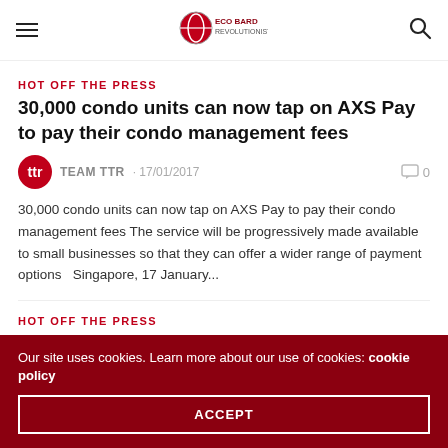ECO BARD REVOLUTIONIST [logo/navigation]
HOT OFF THE PRESS
30,000 condo units can now tap on AXS Pay to pay their condo management fees
TEAM TTR · 17/01/2017  0
30,000 condo units can now tap on AXS Pay to pay their condo management fees The service will be progressively made available to small businesses so that they can offer a wider range of payment options   Singapore, 17 January...
HOT OFF THE PRESS
DBS' NEAL CROSS RECOGNISED AS THE MOST DISRUPTIVE CHIEF INNOVATION OFFICER GLOBALLY
Our site uses cookies. Learn more about our use of cookies: cookie policy
ACCEPT